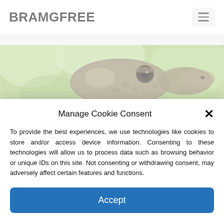BRAMGFREE
[Figure (photo): Close-up photo of a lizard (chameleon or agama) face among green foliage, cropped as a horizontal banner strip]
Manage Cookie Consent
To provide the best experiences, we use technologies like cookies to store and/or access device information. Consenting to these technologies will allow us to process data such as browsing behavior or unique IDs on this site. Not consenting or withdrawing consent, may adversely affect certain features and functions.
Accept